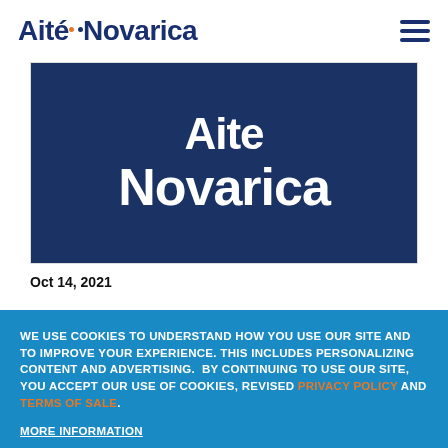Aite Novarica
[Figure (logo): Aite Novarica logo on dark blue background]
Oct 14, 2021
WE USE COOKIES TO UNDERSTAND HOW YOU USE OUR SITE AND TO IMPROVE YOUR EXPERIENCE. THIS INCLUDES PERSONALIZING CONTENT AND ADVERTISING. BY CONTINUING TO USE OUR SITE, YOU ACCEPT OUR USE OF COOKIES, REVISED PRIVACY POLICY AND TERMS OF SALE.
MORE INFORMATION
I ACCEPT